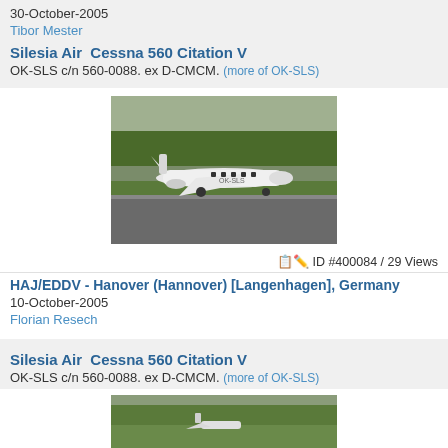30-October-2005
Tibor Mester
Silesia Air  Cessna 560 Citation V
OK-SLS c/n 560-0088. ex D-CMCM. (more of OK-SLS)
[Figure (photo): Cessna 560 Citation V aircraft on tarmac with trees in background]
ID #400084 / 29 Views
HAJ/EDDV - Hanover (Hannover) [Langenhagen], Germany
10-October-2005
Florian Resech
Silesia Air  Cessna 560 Citation V
OK-SLS c/n 560-0088. ex D-CMCM. (more of OK-SLS)
[Figure (photo): Cessna 560 Citation V aircraft at Hanover airport, partial view]